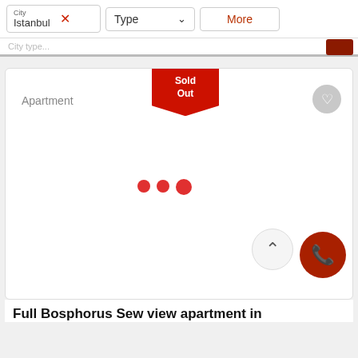[Figure (screenshot): Filter bar with City: Istanbul (with X close icon), Type dropdown, and More button]
[Figure (screenshot): Apartment listing card showing 'Sold Out' badge, heart/favorite icon, loading dots, scroll-up button, call button]
Apartment
Sold Out
Full Bosphorus Sew view apartment in